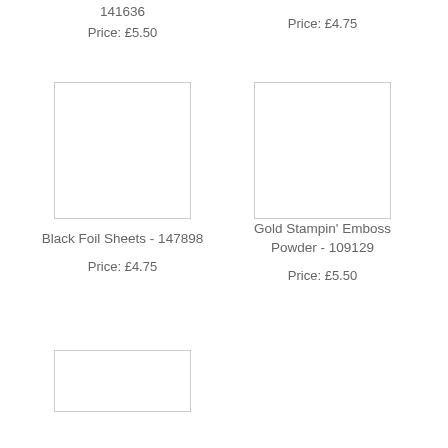141636
Price: £5.50
Price: £4.75
[Figure (photo): Product image placeholder left column row 2]
[Figure (photo): Product image placeholder right column row 2]
Black Foil Sheets - 147898
Price: £4.75
Gold Stampin' Emboss Powder - 109129
Price: £5.50
[Figure (photo): Product image placeholder left column row 3]